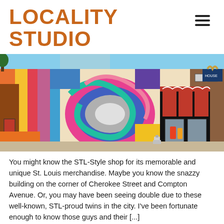LOCALITY STUDIO
[Figure (photo): Colorful mural-covered building on a street corner, the STL-Style shop on Cherokee Street and Compton Avenue in St. Louis, with vibrant abstract street art murals covering the exterior walls.]
You might know the STL-Style shop for its memorable and unique St. Louis merchandise. Maybe you know the snazzy building on the corner of Cherokee Street and Compton Avenue. Or, you may have been seeing double due to these well-known, STL-proud twins in the city. I've been fortunate enough to know those guys and their [...]
Time Management Tools and